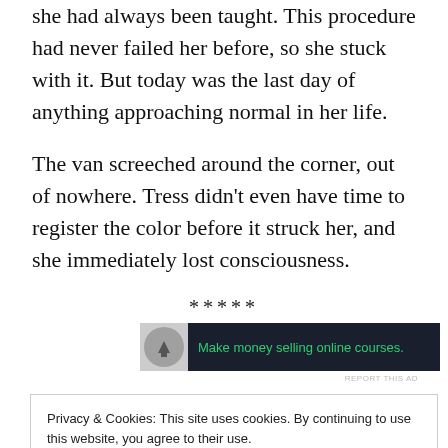she had always been taught. This procedure had never failed her before, so she stuck with it. But today was the last day of anything approaching normal in her life.
The van screeched around the corner, out of nowhere. Tress didn't even have time to register the color before it struck her, and she immediately lost consciousness.
*****
[Figure (other): Advertisement banner: dark background with icon and green text 'Make money selling online courses.']
REPORT THIS AD
Privacy & Cookies: This site uses cookies. By continuing to use this website, you agree to their use.
To find out more, including how to control cookies, see here: Cookie Policy
Close and accept